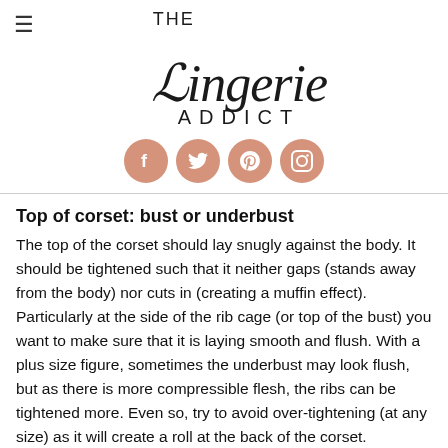THE LINGERIE ADDICT
[Figure (illustration): Four salmon/peach colored social media icon circles: Facebook, Twitter, Pinterest, Instagram]
Top of corset: bust or underbust
The top of the corset should lay snugly against the body. It should be tightened such that it neither gaps (stands away from the body) nor cuts in (creating a muffin effect). Particularly at the side of the rib cage (or top of the bust) you want to make sure that it is laying smooth and flush. With a plus size figure, sometimes the underbust may look flush, but as there is more compressible flesh, the ribs can be tightened more. Even so, try to avoid over-tightening (at any size) as it will create a roll at the back of the corset. Tightening the underbust properly will further emphasize the waist and